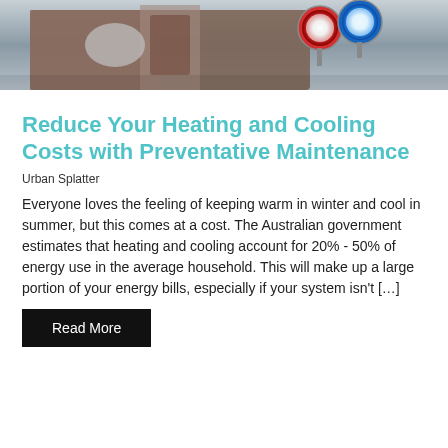[Figure (photo): A person holding HVAC gauges/manifold tools outdoors, wearing gloves, with a tool bag visible in the background.]
Reduce Your Heating and Cooling Costs with Preventative Maintenance
Urban Splatter
Everyone loves the feeling of keeping warm in winter and cool in summer, but this comes at a cost. The Australian government estimates that heating and cooling account for 20% - 50% of energy use in the average household. This will make up a large portion of your energy bills, especially if your system isn't […]
Read More